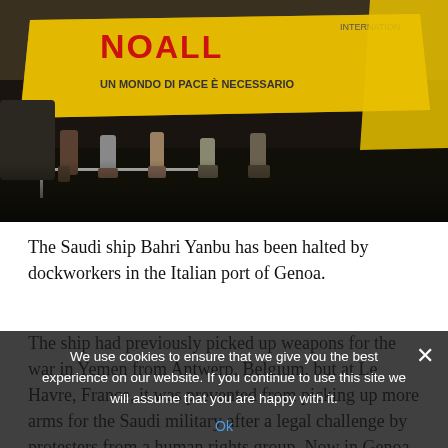[Figure (photo): Protest scene showing people holding large yellow banners at what appears to be a port or indoor industrial space. Banners include text in Italian and a red logo. People's legs and feet are visible below the banners.]
The Saudi ship Bahri Yanbu has been halted by dockworkers in the Italian port of Genoa.
The ship had previously picked up weapons for the war in Yemen from Antwerp, Belgium, but at Le Havre, France, it was prevented from picking up more arms for the Saudi military after a legal challenge by protesters from a human rights group. Now in Genoa, dock workers, with support from local protesters, have taken direct action and refused to load the vessel, saying that "You cannot allow a race to be complicit in what is happening in Yemen" and they also make the call to "open the port to migrants and close it to arms".
We use cookies to ensure that we give you the best experience on our website. If you continue to use this site we will assume that you are happy with it.
Ok